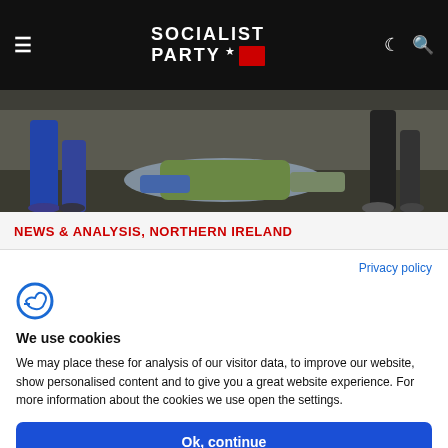SOCIALIST PARTY
[Figure (photo): Photo showing people lying on the ground with others standing around them, appears to be a protest or demonstration scene]
NEWS & ANALYSIS, NORTHERN IRELAND
Privacy policy
We use cookies
We may place these for analysis of our visitor data, to improve our website, show personalised content and to give you a great website experience. For more information about the cookies we use open the settings.
Ok, continue
Deny
No, adjust